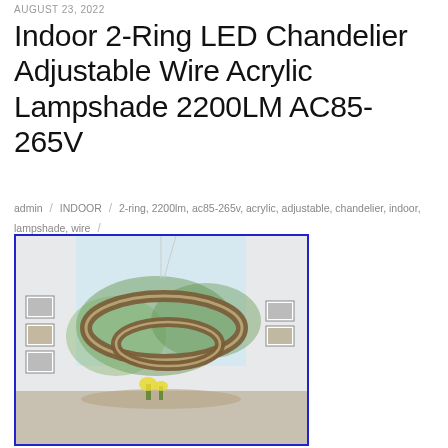AUGUST 23, 2022
Indoor 2-Ring LED Chandelier Adjustable Wire Acrylic Lampshade 2200LM AC85-265V
admin / INDOOR / 2-ring, 2200lm, ac85-265v, acrylic, adjustable, chandelier, indoor, lampshade, wire /
[Figure (photo): Photo of a 2-ring LED chandelier with a brown/wood-grain acrylic lampshade, hanging in a modern dining room with white walls and greenery visible through large windows.]